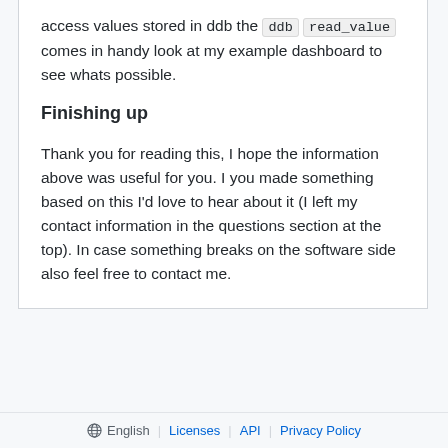access values stored in ddb the ddb read_value comes in handy look at my example dashboard to see whats possible.
Finishing up
Thank you for reading this, I hope the information above was useful for you. I you made something based on this I'd love to hear about it (I left my contact information in the questions section at the top). In case something breaks on the software side also feel free to contact me.
English | Licenses | API | Privacy Policy